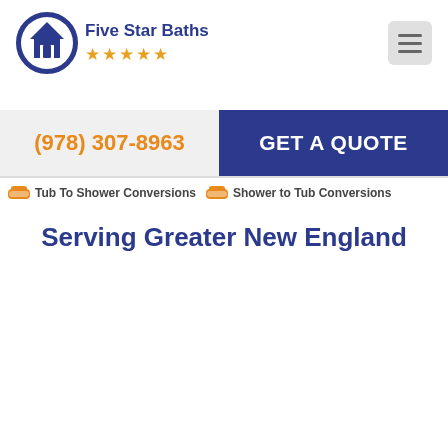[Figure (logo): Five Star Baths logo with house icon inside a blue circle, company name in bold blue, and five orange stars below the name]
[Figure (other): Hamburger menu button (three horizontal lines) inside a light gray rounded square]
(978) 307-8963
GET A QUOTE
Tub To Shower Conversions
Shower to Tub Conversions
Serving Greater New England